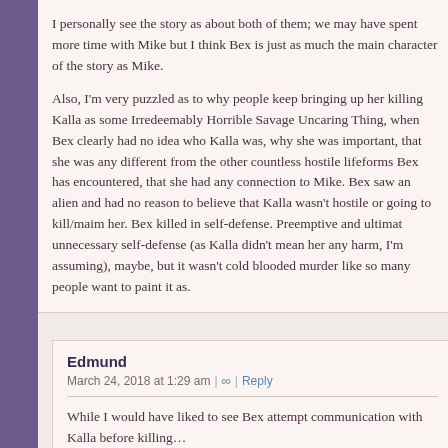I personally see the story as about both of them; we may have spent more time with Mike but I think Bex is just as much the main character of the story as Mike.

Also, I'm very puzzled as to why people keep bringing up her killing Kalla as some Irredeemably Horrible Savage Uncaring Thing, when Bex clearly had no idea who Kalla was, why she was important, that she was any different from the other countless hostile lifeforms Bex has encountered, that she had any connection to Mike. Bex saw an alien and had no reason to believe that Kalla wasn't hostile or going to kill/maim her. Bex killed in self-defense. Preemptive and ultimately unnecessary self-defense (as Kalla didn't mean her any harm, I'm assuming), maybe, but it wasn't cold blooded murder like so many people want to paint it as.
Edmund
March 24, 2018 at 1:29 am

While I would have liked to see Bex attempt communication with Kalla before killing…

We have those spade-headed dealies that tried to smash Mike two without any attempt at talking. We've had large fish with needles instead of heads. We know LEVI was smashed by